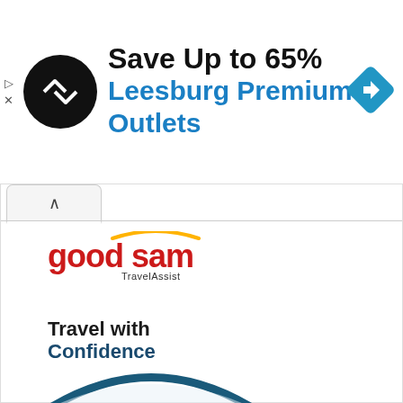[Figure (screenshot): Ad banner showing 'Save Up to 65% Leesburg Premium Outlets' with black circular logo with arrows and blue diamond navigation icon]
[Figure (logo): Good Sam TravelAssist logo - red text with yellow halo arc above]
Travel with Confidence
[Figure (illustration): Partial arc/umbrella shape in dark teal blue color visible at bottom of page]